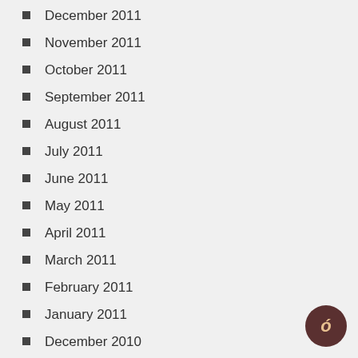December 2011
November 2011
October 2011
September 2011
August 2011
July 2011
June 2011
May 2011
April 2011
March 2011
February 2011
January 2011
December 2010
November 2010
October 2010
September 2010
August 2010
July 2010
June 2010
May 2010